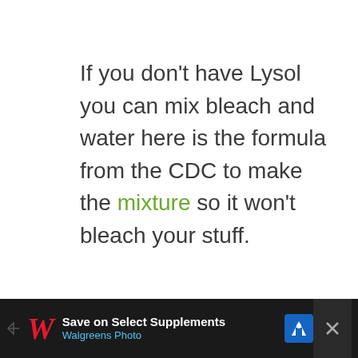If you don't have Lysol you can mix bleach and water here is the formula from the CDC to make the mixture so it won't bleach your stuff.
When Going Out
Save on Select Supplements Walgreens Photo [advertisement]